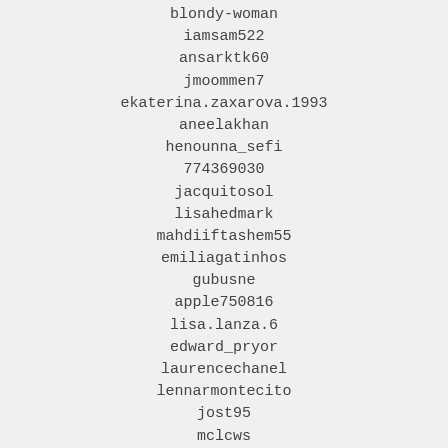blondy-woman
iamsam522
ansarktk60
jmoommen7
ekaterina.zaxarova.1993
aneelakhan
henounna_sefi
774369030
jacquitosol
lisahedmark
mahdiiftashem55
emiliagatinhos
gubusne
apple750816
lisa.lanza.6
edward_pryor
laurencechanel
lennarmontecito
jost95
mclcws
lagunabeach123
higgins_007
eva54896
bbbd1473